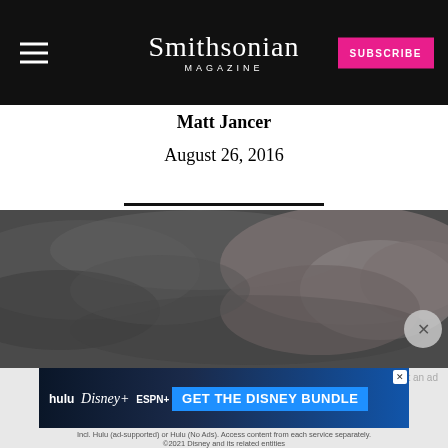Smithsonian MAGAZINE
Matt Jancer
August 26, 2016
[Figure (photo): Dark stormy sky with grey clouds]
[Figure (screenshot): Advertisement banner: GET THE DISNEY BUNDLE featuring Hulu, Disney+, ESPN+ logos. Text: Incl. Hulu (ad-supported) or Hulu (No Ads). Access content from each service separately. ©2021 Disney and its related entities]